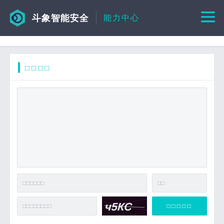斗象智能安全 | 能力中心
□□□□
[Figure (screenshot): Demo/preview area — empty light gray box with border]
□□□□□□
□□
□□□□□□□□
[Figure (photo): CAPTCHA image showing stylized text 'ч5КС' on dark background]
□□□□□